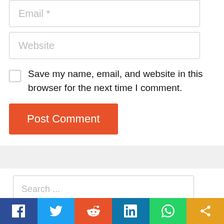Email *
Website
Save my name, email, and website in this browser for the next time I comment.
Post Comment
Search ...
[Figure (infographic): Social sharing bar with Facebook, Twitter, Reddit, LinkedIn, WhatsApp, and share icons]